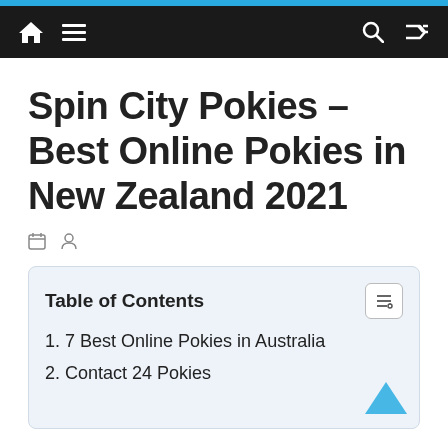Navigation bar with home, menu, search, and shuffle icons
Spin City Pokies – Best Online Pokies in New Zealand 2021
Calendar icon and author icon (metadata)
| Table of Contents |
| --- |
| 1. 7 Best Online Pokies in Australia |
| 2. Contact 24 Pokies |